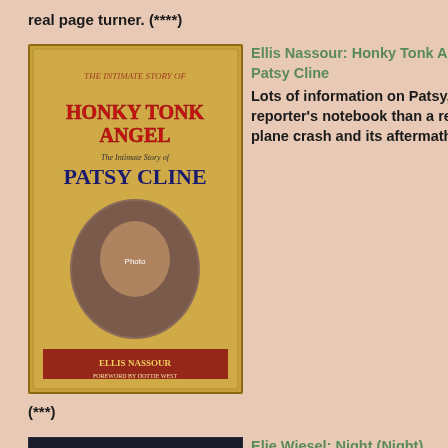real page turner. (****)
[Figure (photo): Book cover of 'Honky Tonk Angel: The Intimate Story of Patsy Cline' by Ellis Nassour]
Ellis Nassour: Honky Tonk Angel: The Intimate Story of Patsy Cline
Lots of information on Patsy, but it reads more like a reporter's notebook than a real story. The account of the plane crash and its aftermath is hard to read. (***)
[Figure (photo): Book cover of 'Night' by Elie Wiesel]
Elie Wiesel: Night (Night)
Elie Wiesel's masterpiece, a candid, horrific, and deeply poignant autobiographical account of his survival as a teenager in the Nazi death camps. It will make you shudder at the true evil in the world; it will amaze